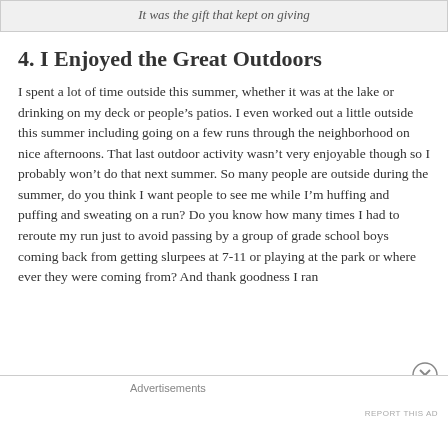It was the gift that kept on giving
4. I Enjoyed the Great Outdoors
I spent a lot of time outside this summer, whether it was at the lake or drinking on my deck or people’s patios. I even worked out a little outside this summer including going on a few runs through the neighborhood on nice afternoons. That last outdoor activity wasn’t very enjoyable though so I probably won’t do that next summer. So many people are outside during the summer, do you think I want people to see me while I’m huffing and puffing and sweating on a run? Do you know how many times I had to reroute my run just to avoid passing by a group of grade school boys coming back from getting slurpees at 7-11 or playing at the park or where ever they were coming from? And thank goodness I ran
Advertisements